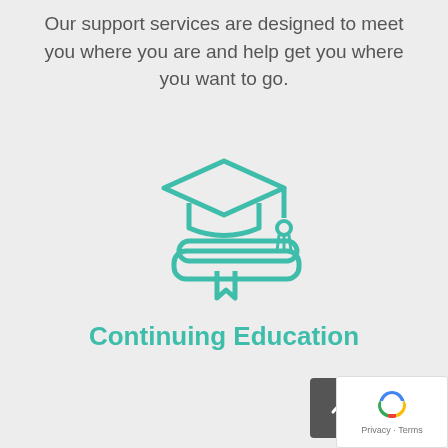Our support services are designed to meet you where you are and help get you where you want to go.
[Figure (illustration): Teal/turquoise outline icon of a graduation cap sitting on top of a stack of books with a bookmark ribbon, representing continuing education.]
Continuing Education